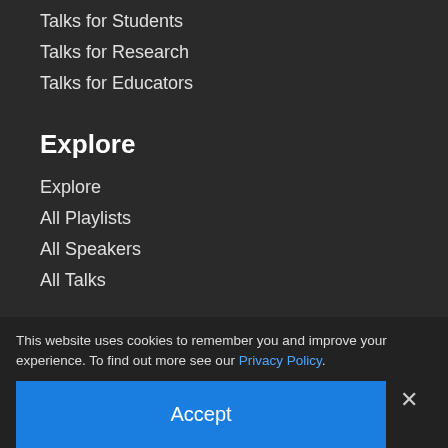Talks for Students
Talks for Research
Talks for Educators
Explore
Explore
All Playlists
All Speakers
All Talks
Talks By Topic
Biochemistry
Bioe…
Biop…
This website uses cookies to remember you and improve your experience. To find out more see our Privacy Policy.
Accept